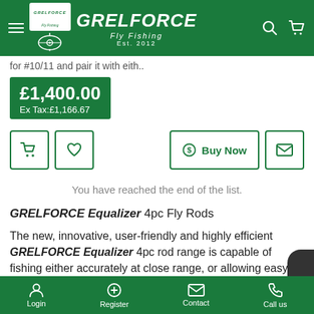GRELFORCE Fly Fishing Est. 2012
for #10/11 and pair it with eith..
£1,400.00 Ex Tax:£1,166.67
[Figure (screenshot): Action buttons row: cart icon, heart icon, Buy Now button, envelope icon]
You have reached the end of the list.
GRELFORCE Equalizer 4pc Fly Rods
The new, innovative, user-friendly and highly efficient GRELFORCE Equalizer 4pc rod range is capable of fishing either accurately at close range, or allowing easy use of its power reserves to fish effectively at greater
Login  Register  Contact  Call us